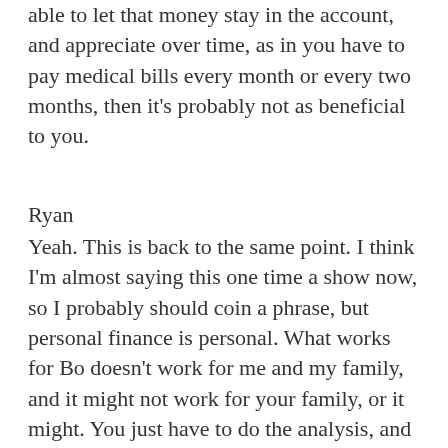able to let that money stay in the account, and appreciate over time, as in you have to pay medical bills every month or every two months, then it’s probably not as beneficial to you.
Ryan
Yeah. This is back to the same point. I think I’m almost saying this one time a show now, so I probably should coin a phrase, but personal finance is personal. What works for Bo doesn’t work for me and my family, and it might not work for your family, or it might. You just have to do the analysis, and educate yourself on what is actually available, and out there, and this show is going to help you get to that point, and futureproofmd.com is definitely going to help